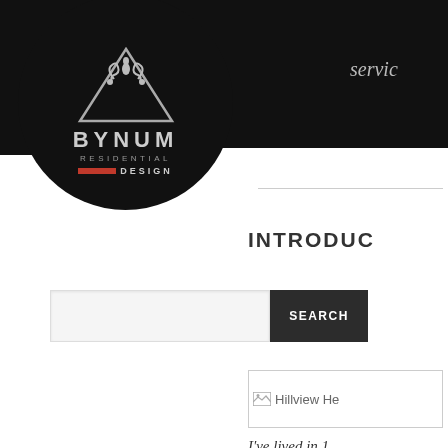servic
[Figure (logo): Bynum Residential Design circular logo on black background with triangle and floral ornament above text BYNUM RESIDENTIAL DESIGN with red bar accent]
INTRODUC
[Figure (screenshot): Search bar with text input and SEARCH button]
[Figure (photo): Hillview He... broken image placeholder]
I've lived in 1... neighborhood...